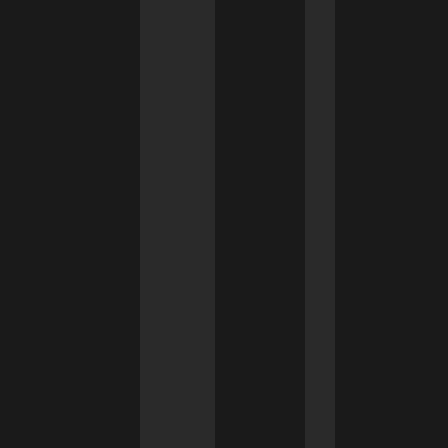holes filled with mold.
On the con side I think in terms of cost this will likely be much more than Mars if you're pricing in terms of risk reduced per dollar spent.
On the other hand the two